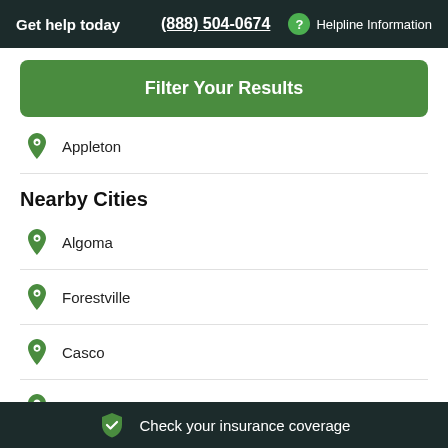Get help today (888) 504-0674 ? Helpline Information
Filter Your Results
Appleton
Nearby Cities
Algoma
Forestville
Casco
(partial, cut off)
Check your insurance coverage